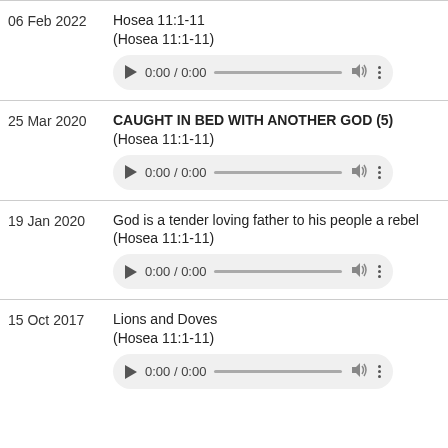06 Feb 2022 | Hosea 11:1-11 (Hosea 11:1-11)
[Figure (other): Audio player showing 0:00 / 0:00 with play button, progress bar, volume icon, and menu dots]
25 Mar 2020 | CAUGHT IN BED WITH ANOTHER GOD (5) (Hosea 11:1-11)
[Figure (other): Audio player showing 0:00 / 0:00 with play button, progress bar, volume icon, and menu dots]
19 Jan 2020 | God is a tender loving father to his people a rebel (Hosea 11:1-11)
[Figure (other): Audio player showing 0:00 / 0:00 with play button, progress bar, volume icon, and menu dots]
15 Oct 2017 | Lions and Doves (Hosea 11:1-11)
[Figure (other): Audio player showing 0:00 / 0:00 with play button, progress bar, volume icon, and menu dots]